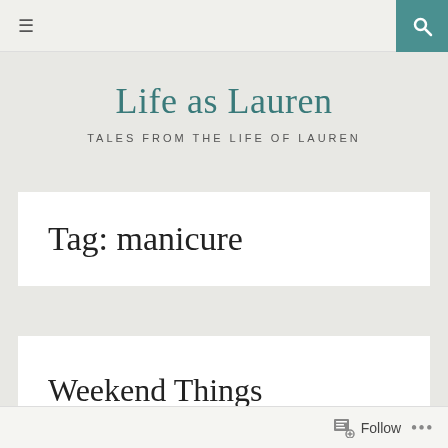≡  [search icon]
Life as Lauren
TALES FROM THE LIFE OF LAUREN
Tag: manicure
Weekend Things
FEBRUARY 17, 2020
Follow  •••